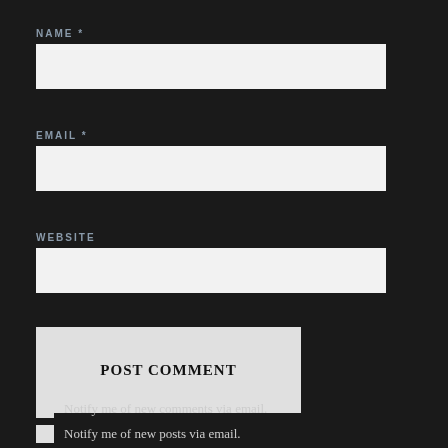NAME *
[Figure (other): Empty text input field for Name]
EMAIL *
[Figure (other): Empty text input field for Email]
WEBSITE
[Figure (other): Empty text input field for Website]
[Figure (other): POST COMMENT button]
Notify me of new comments via email.
Notify me of new posts via email.